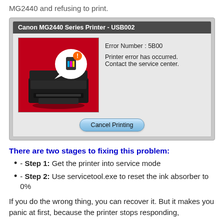MG2440 and refusing to print.
[Figure (screenshot): Screenshot of Canon MG2440 Series Printer - USB002 dialog box showing Error Number: 5B00, with message 'Printer error has occurred. Contact the service center.' and a Cancel Printing button. The dialog shows an image of a black Canon printer on a red background with an ink cartridge warning icon.]
There are two stages to fixing this problem:
- Step 1: Get the printer into service mode
- Step 2: Use servicetool.exe to reset the ink absorber to 0%
If you do the wrong thing, you can recover it. But it makes you panic at first, because the printer stops responding,